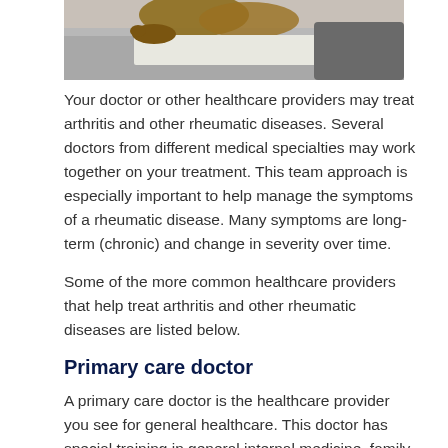[Figure (photo): Photo of a patient's legs/feet on a medical examination table with a gray covering, suggesting a clinical or physical therapy setting.]
Your doctor or other healthcare providers may treat arthritis and other rheumatic diseases. Several doctors from different medical specialties may work together on your treatment. This team approach is especially important to help manage the symptoms of a rheumatic disease. Many symptoms are long-term (chronic) and change in severity over time.
Some of the more common healthcare providers that help treat arthritis and other rheumatic diseases are listed below.
Primary care doctor
A primary care doctor is the healthcare provider you see for general healthcare. This doctor has special training in general internal medicine, family practice, or another first-level-of-care area. Primary care doctors offer:
Routine healthcare, including annual physical exams and vaccines